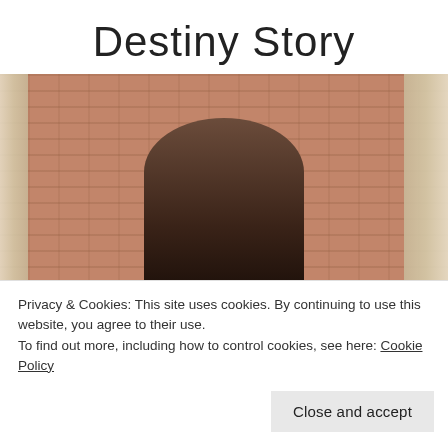Destiny Story
[Figure (photo): A young woman with long brown hair taking a selfie in a mirror inside what appears to be a clothing boutique, with a brick wall and curtains visible in the background.]
Privacy & Cookies: This site uses cookies. By continuing to use this website, you agree to their use.
To find out more, including how to control cookies, see here: Cookie Policy
Close and accept